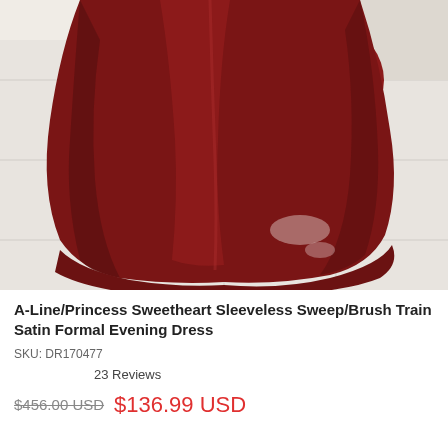[Figure (photo): Close-up photo of the lower half of a deep red/burgundy satin formal evening dress with a sweep/brush train, shown on a white tiled floor with a window in the background.]
A-Line/Princess Sweetheart Sleeveless Sweep/Brush Train Satin Formal Evening Dress
SKU: DR170477
23 Reviews
$456.00 USD $136.99 USD